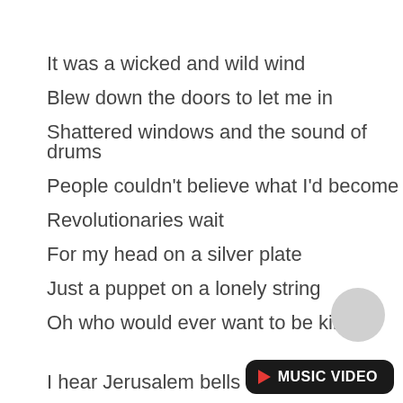It was a wicked and wild wind
Blew down the doors to let me in
Shattered windows and the sound of drums
People couldn't believe what I'd become
Revolutionaries wait
For my head on a silver plate
Just a puppet on a lonely string
Oh who would ever want to be king?
I hear Jerusalem bells a-ringing
Roman cavalry choirs are singing
Be my mirror, my sword and shield
My missionaries in a foreign field
[Figure (other): MUSIC VIDEO button overlay with play icon]